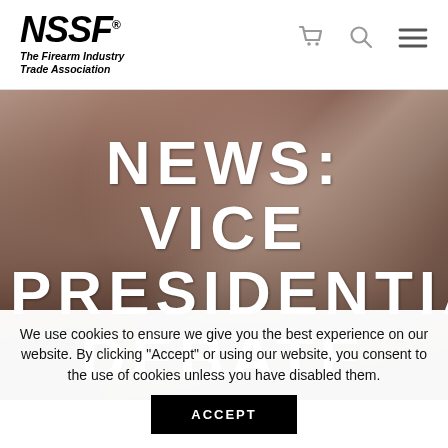NSSF® The Firearm Industry Trade Association
[Figure (photo): Close-up photo of hands (appears to be someone typing or at a desk), used as hero background image with dark overlay]
NEWS: VICE PRESIDENTIAL DEBATE
We use cookies to ensure we give you the best experience on our website. By clicking "Accept" or using our website, you consent to the use of cookies unless you have disabled them.
ACCEPT